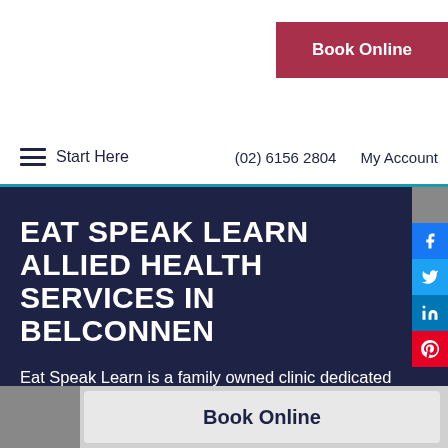Book Online
Start Here  (02) 6156 2804  My Account
EAT SPEAK LEARN ALLIED HEALTH SERVICES IN BELCONNEN
Eat Speak Learn is a family owned clinic dedicated to helping our clients achieve better living. Our practitioners are passionate about what they do. We take an evidence based approach to therapy and deliver services in a fun and innovative way.
Book Online